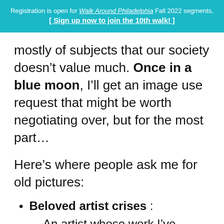Registration is open for Walk Around Philadelphia Fall 2022 segments.
[ Sign up now to join the 10th walk! ]
mostly of subjects that our society doesn’t value much. Once in a blue moon, I’ll get an image use request that might be worth negotiating over, but for the most part…
Here’s where people ask me for old pictures:
Beloved artist crises : An artist whose work I’ve documented needs images for an